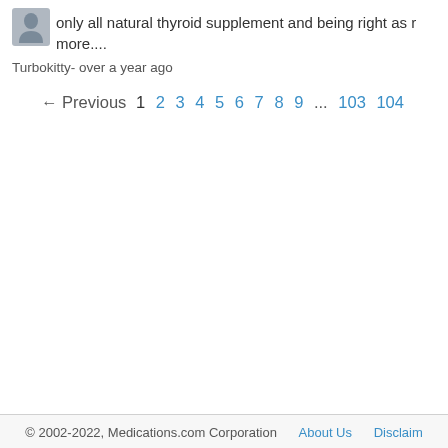only all natural thyroid supplement and being right as r… more....
Turbokitty- over a year ago
← Previous 1 2 3 4 5 6 7 8 9 ... 103 104
© 2002-2022, Medications.com Corporation   About Us   Disclaim...